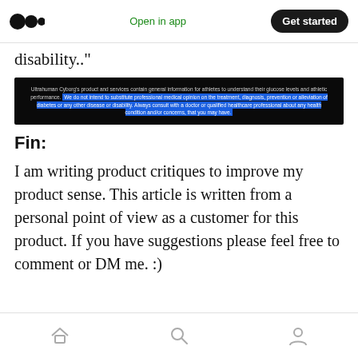Medium logo | Open in app | Get started
disability.."
[Figure (screenshot): Dark disclaimer box with highlighted text: Ultrahuman Cyborg's product and services contain general information for athletes to understand their glucose levels and athletic performance. We do not intend to substitute professional medical opinion on the treatment, diagnosis, prevention or alleviation of diabetes or any other disease or disability. Always consult with a doctor or qualified healthcare professional about any health condition and/or concerns, that you may have.]
Fin:
I am writing product critiques to improve my product sense. This article is written from a personal point of view as a customer for this product. If you have suggestions please feel free to comment or DM me. :)
Home | Search | Profile